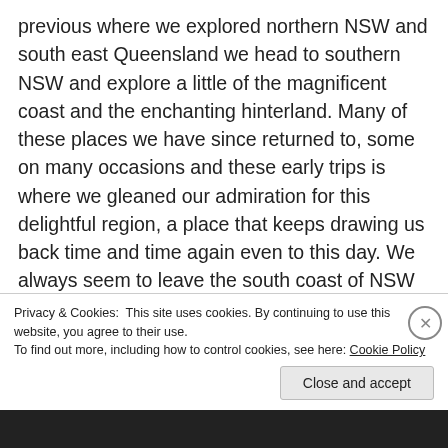previous where we explored northern NSW and south east Queensland we head to southern NSW and explore a little of the magnificent coast and the enchanting hinterland. Many of these places we have since returned to, some on many occasions and these early trips is where we gleaned our admiration for this delightful region, a place that keeps drawing us back time and time again even to this day. We always seem to leave the south coast of NSW inspired and wanting for more. So grab a cuppa, kick back and enjoy our forays into this amazing region and hopefully we will leave you inspired to...
Privacy & Cookies: This site uses cookies. By continuing to use this website, you agree to their use. To find out more, including how to control cookies, see here: Cookie Policy